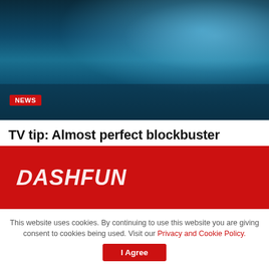[Figure (photo): Dark sci-fi scene with blue lighting, possibly showing a futuristic structure near water with debris]
NEWS
TV tip: Almost perfect blockbuster cinema is on tonight – almost two hours of top-notch sci-fi action
SEPTEMBER 3, 2022
[Figure (logo): DASHFUN logo in white italic bold text on red background]
This website uses cookies. By continuing to use this website you are giving consent to cookies being used. Visit our Privacy and Cookie Policy.